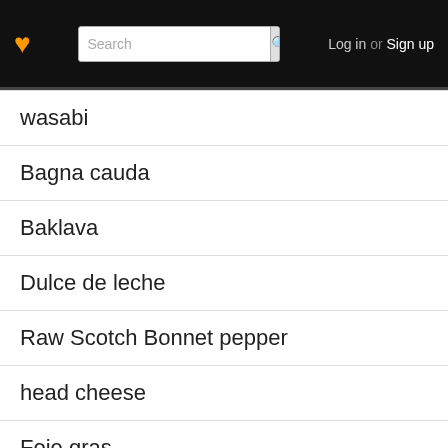Log in or Sign up
wasabi
Bagna cauda
Baklava
Dulce de leche
Raw Scotch Bonnet pepper
head cheese
Foie gras
Pistachio ice cream